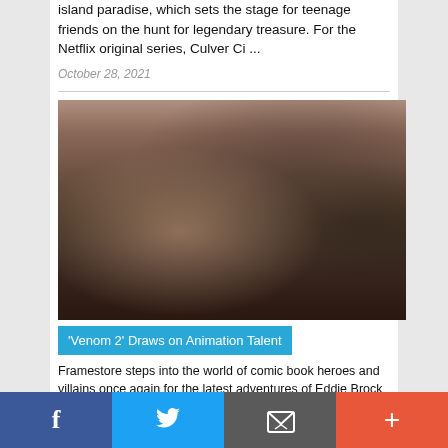island paradise, which sets the stage for teenage friends on the hunt for legendary treasure. For the Netflix original series, Culver Ci ...
October 28, 2021
[Figure (photo): Two men on a film set — one in a light gray t-shirt holding photos, another in a dark jacket with headphones around his neck, standing near a large tire in an industrial brick-walled space.]
'Venom 2' Draws on Animation Talent
Framestore steps into the world of comic book heroes and villains once again for the latest adventures of Eddie Brock (Tom Hardy) and alien symbiote Venom. In this high-octane sequel, Brock attem